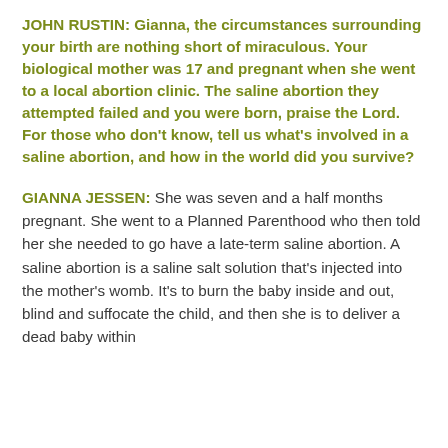JOHN RUSTIN: Gianna, the circumstances surrounding your birth are nothing short of miraculous. Your biological mother was 17 and pregnant when she went to a local abortion clinic. The saline abortion they attempted failed and you were born, praise the Lord. For those who don't know, tell us what's involved in a saline abortion, and how in the world did you survive?
GIANNA JESSEN: She was seven and a half months pregnant. She went to a Planned Parenthood who then told her she needed to go have a late-term saline abortion. A saline abortion is a saline salt solution that's injected into the mother's womb. It's to burn the baby inside and out, blind and suffocate the child, and then she is to deliver a dead baby within